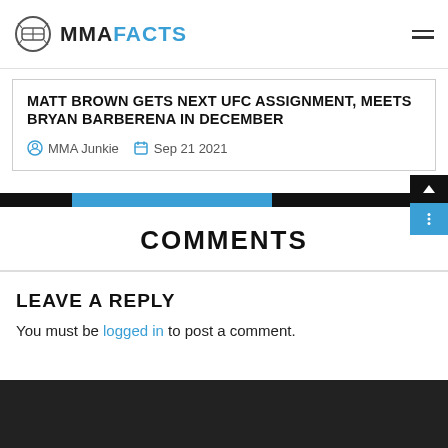MMA FACTS
MATT BROWN GETS NEXT UFC ASSIGNMENT, MEETS BRYAN BARBERENA IN DECEMBER
MMA Junkie   Sep 21 2021
COMMENTS
LEAVE A REPLY
You must be logged in to post a comment.